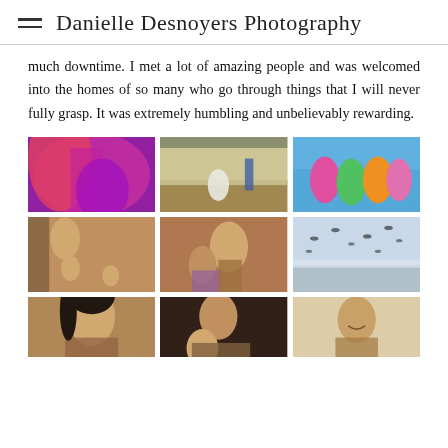Danielle Desnoyers Photography
much downtime. I met a lot of amazing people and was welcomed into the homes of so many who go through things that I will never fully grasp. It was extremely humbling and unbelievably rewarding.
[Figure (photo): Woman in colorful red and purple sari fabric]
[Figure (photo): White cow or goat in dusty outdoor space near a building, child in background]
[Figure (photo): Group of smiling Indian women looking over a railing]
[Figure (photo): Family of several people including children standing by a doorway]
[Figure (photo): Woman holding young child, another person in background]
[Figure (photo): Birds flying over a flat landscape with overcast sky]
[Figure (photo): Close-up portrait of a young girl]
[Figure (photo): Woman holding a baby inside a dark interior]
[Figure (photo): Smiling young woman inside a room with wall decorations]